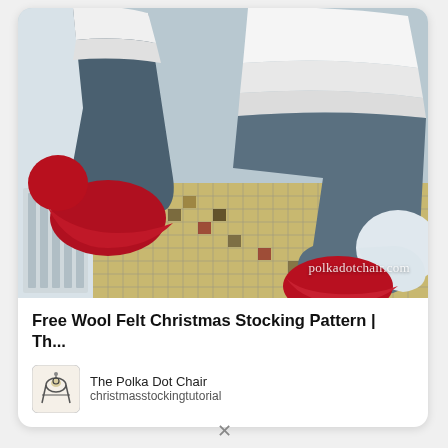[Figure (photo): Two dark blue/grey wool felt Christmas stockings with red toes and heels hanging in front of a mosaic tile background. The stockings have white cuffed tops. A watermark reads 'polkadotchair.com'.]
Free Wool Felt Christmas Stocking Pattern | Th...
[Figure (logo): The Polka Dot Chair website logo — a small circular emblem with a sewing chair illustration]
The Polka Dot Chair
christmasstockingtutorial